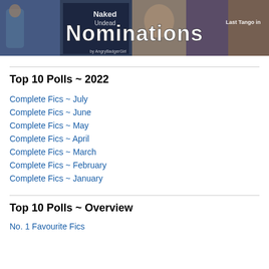[Figure (illustration): Banner image with collage of photos and large text reading 'Nominations' in white stylized font, with smaller text 'Naked Undead' visible and 'Last Tango in' on the right, and 'by AngryBadgerGirl' at the bottom]
Top 10 Polls ~ 2022
Complete Fics ~ July
Complete Fics ~ June
Complete Fics ~ May
Complete Fics ~ April
Complete Fics ~ March
Complete Fics ~ February
Complete Fics ~ January
Top 10 Polls ~ Overview
No. 1 Favourite Fics